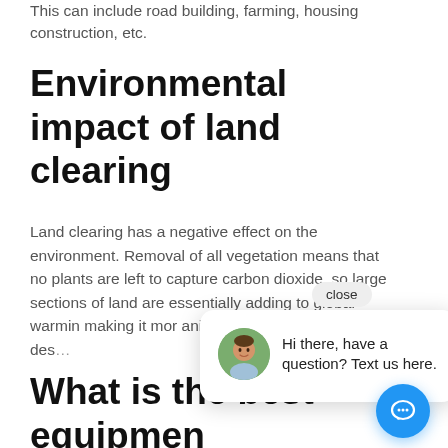This can include road building, farming, housing construction, etc.
Environmental impact of land clearing
Land clearing has a negative effect on the environment. Removal of all vegetation means that no plants are left to capture carbon dioxide, so large sections of land are essentially adding to global warming making it more difficult and animals lose their homes are destroyed.
What is the best equipment for land clearing?
[Figure (screenshot): Chat popup overlay with avatar photo of a man, message 'Hi there, have a question? Text us here.' and a close button. Blue circular chat button in bottom right corner.]